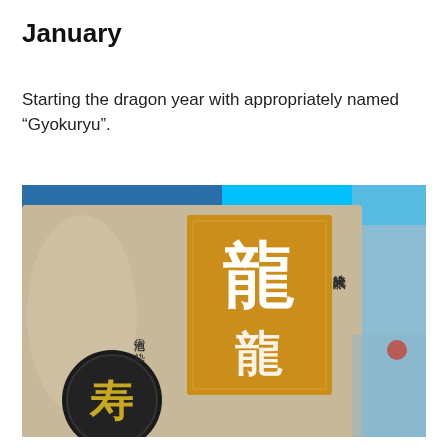January
Starting the dragon year with appropriately named “Gyokuryu”.
[Figure (photo): Close-up photo of a Japanese sake bottle label, showing large gold kanji characters for 'dragon' (龍) on a beige/cream background, with smaller vertical Japanese text reading 純米大吟醸 and 地酒の粋, and a circular black emblem with gold kanji at the bottom left. The bottle has a blue cap visible at the top.]